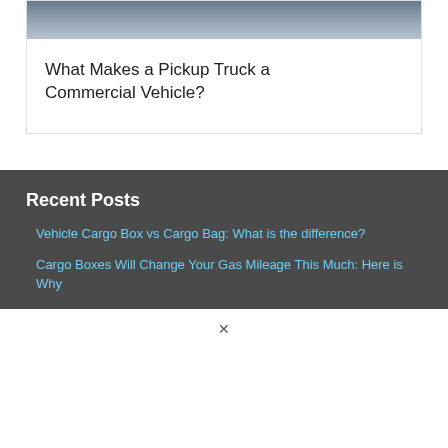[Figure (photo): Partial view of a pickup truck in snowy/dark conditions, cropped at top]
What Makes a Pickup Truck a Commercial Vehicle?
Recent Posts
Vehicle Cargo Box vs Cargo Bag: What is the difference?
Cargo Boxes Will Change Your Gas Mileage This Much: Here is Why